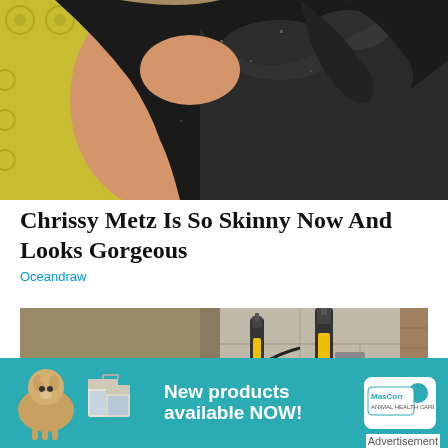[Figure (photo): Close-up photo of a woman wearing a black sequined off-shoulder outfit against a yellow patterned background]
Chrissy Metz Is So Skinny Now And Looks Gorgeous
Oceandraw
[Figure (photo): Photo of foundation repair equipment with yellow and black hydraulic tools attached to a concrete block wall, with cables running along a dirt trench]
[Figure (other): Advertisement banner with teal background showing a cow, product buckets, text 'New products available NOW!' and MasCorr logo]